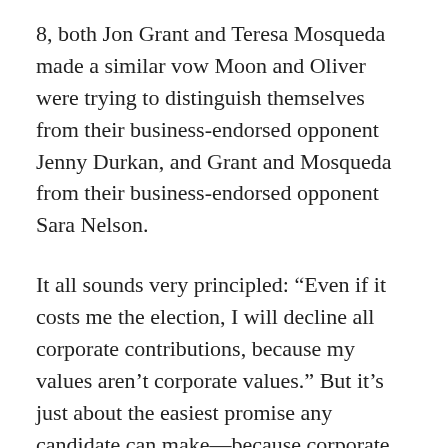8, both Jon Grant and Teresa Mosqueda made a similar vow Moon and Oliver were trying to distinguish themselves from their business-endorsed opponent Jenny Durkan, and Grant and Mosqueda from their business-endorsed opponent Sara Nelson.
It all sounds very principled: “Even if it costs me the election, I will decline all corporate contributions, because my values aren’t corporate values.” But it’s just about the easiest promise any candidate can make—because corporate contributions are basically nonexistent in Seattle.
Obviously, the Seattle Chamber and other business groups support certain candidates (often, in recent